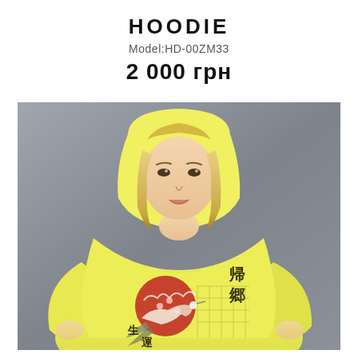HOODIE
Model:HD-00ZM33
2 000 грн
[Figure (photo): Young blonde woman wearing an oversized yellow hoodie with Japanese-style graphic print (crane bird, red sun, cherry blossoms, kanji characters 帰郷 and 生運) against a grey background]